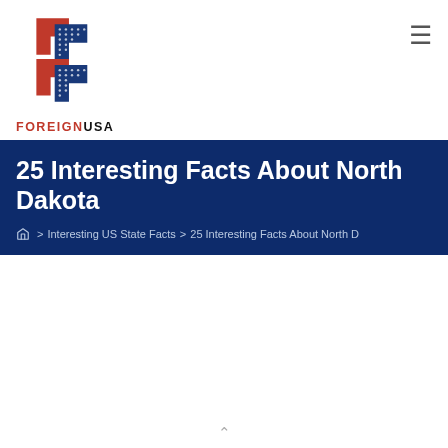[Figure (logo): ForeignUSA logo with red and blue double chevron/arrow design incorporating American flag pattern, with text FOREIGNUSA below]
25 Interesting Facts About North Dakota
🏠 > Interesting US State Facts > 25 Interesting Facts About North D